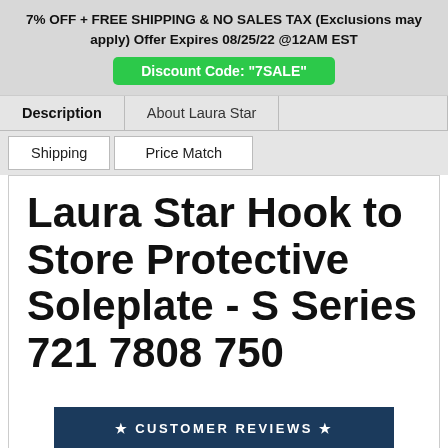7% OFF + FREE SHIPPING & NO SALES TAX (Exclusions may apply) Offer Expires 08/25/22 @12AM EST
Discount Code: "7SALE"
Description
About Laura Star
Shipping
Price Match
Laura Star Hook to Store Protective Soleplate - S Series 721 7808 750
★ CUSTOMER REVIEWS ★